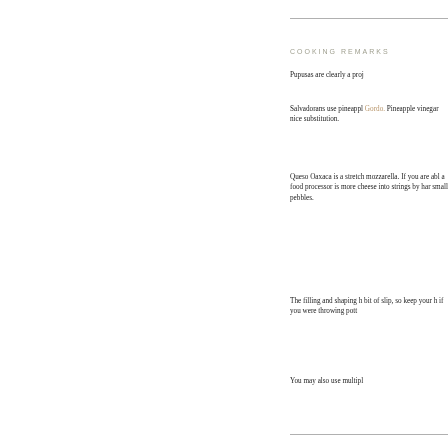COOKING REMARKS
Pupusas are clearly a proj
Salvadorans use pineappl Gordo. Pineapple vinegar nice substitution.
Queso Oaxaca is a stretch mozzarella. If you are abl a food processor is more cheese into strings by har small pebbles.
The filling and shaping h bit of slip, so keep your h if you were throwing pott
You may also use multipl